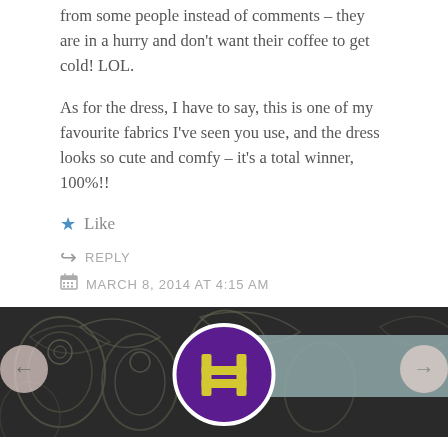from some people instead of comments – they are in a hurry and don't want their coffee to get cold! LOL.
As for the dress, I have to say, this is one of my favourite fabrics I've seen you use, and the dress looks so cute and comfy – it's a total winner, 100%!!
★ Like
↪ REPLY
MARCH 8, 2014 AT 4:15 AM
[Figure (illustration): Dark paisley patterned background with teal/slate horizontal bar overlay, and a circular purple avatar with yellow ladder/letter H icon. Navigation arrows on left and right sides.]
missjoiedevivre